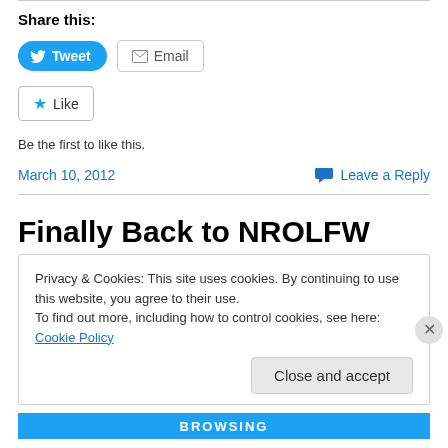Share this:
[Figure (screenshot): Tweet button (blue rounded) and Email button (grey bordered)]
[Figure (screenshot): Like button with blue star icon]
Be the first to like this.
March 10, 2012
Leave a Reply
Finally Back to NROLFW
Privacy & Cookies: This site uses cookies. By continuing to use this website, you agree to their use.
To find out more, including how to control cookies, see here: Cookie Policy
Close and accept